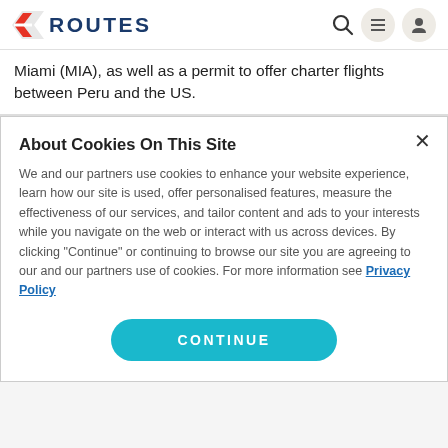ROUTES
Miami (MIA), as well as a permit to offer charter flights between Peru and the US.
About Cookies On This Site
We and our partners use cookies to enhance your website experience, learn how our site is used, offer personalised features, measure the effectiveness of our services, and tailor content and ads to your interests while you navigate on the web or interact with us across devices. By clicking "Continue" or continuing to browse our site you are agreeing to our and our partners use of cookies. For more information see Privacy Policy
CONTINUE